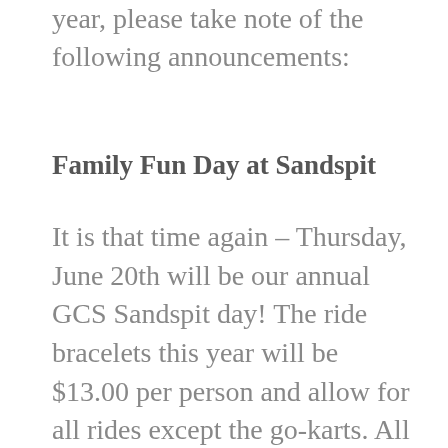year, please take note of the following announcements:
Family Fun Day at Sandspit
It is that time again – Thursday, June 20th will be our annual GCS Sandspit day! The ride bracelets this year will be $13.00 per person and allow for all rides except the go-karts. All parents are required to pay for their own bracelets. When purchasing bracelets, let the cashier know you